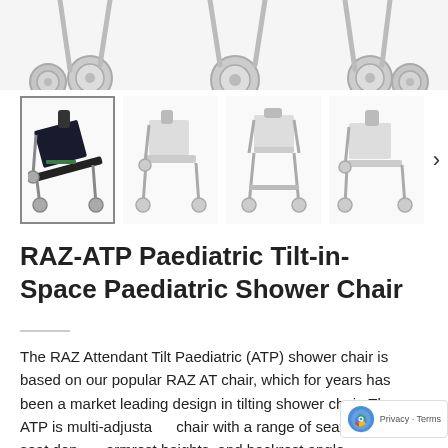[Figure (photo): Top portion of a pediatric shower/tilt-in-space chair showing wheels and frame against white background]
[Figure (photo): Four thumbnail images of the RAZ-ATP Paediatric Tilt-in-Space Paediatric Shower Chair shown from different angles: side tilted view (selected/highlighted), side view, front view, and another side view. A right arrow navigation button is visible.]
RAZ-ATP Paediatric Tilt-in-Space Paediatric Shower Chair
The RAZ Attendant Tilt Paediatric (ATP) shower chair is based on our popular RAZ AT chair, which for years has been a market leading design in tilting shower chair. The ATP is multi-adjustable chair with a range of seat heights, seat depths, armrest heights, and backrest angle adjustments